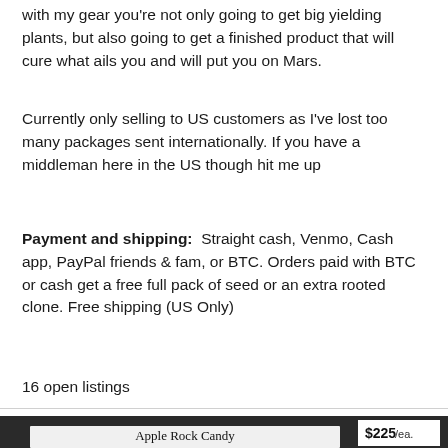with my gear you're not only going to get big yielding plants, but also going to get a finished product that will cure what ails you and will put you on Mars.
Currently only selling to US customers as I've lost too many packages sent internationally. If you have a middleman here in the US though hit me up
Payment and shipping:  Straight cash, Venmo, Cash app, PayPal friends & fam, or BTC. Orders paid with BTC or cash get a free full pack of seed or an extra rooted clone. Free shipping (US Only)
16 open listings
[Figure (photo): A hand holding a dark black seed/product packet with a white label reading 'Apple Rock Candy (Alien Rock Candy x Sour Apple IBL)'. A price badge shows $225/ea. in the upper right corner of the image.]